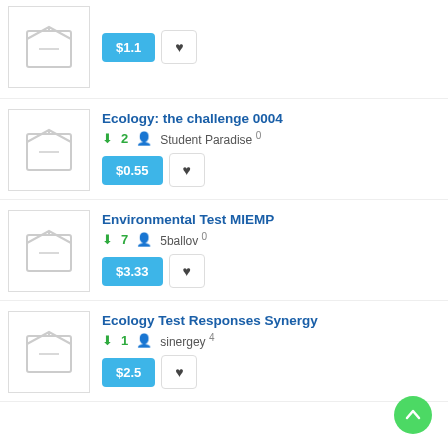[Figure (screenshot): Product listing item with box icon, price $1.1 and favorite button]
Ecology: the challenge 0004 — 2 downloads, Student Paradise, 0 rating, $0.55
Environmental Test MIEMP — 7 downloads, 5ballov, 0 rating, $3.33
Ecology Test Responses Synergy — 1 download, sinergey, 4 rating, $2.5